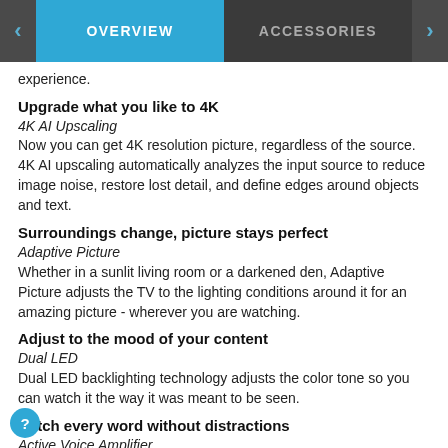OVERVIEW | ACCESSORIES
experience.
Upgrade what you like to 4K
4K AI Upscaling
Now you can get 4K resolution picture, regardless of the source. 4K AI upscaling automatically analyzes the input source to reduce image noise, restore lost detail, and define edges around objects and text.
Surroundings change, picture stays perfect
Adaptive Picture
Whether in a sunlit living room or a darkened den, Adaptive Picture adjusts the TV to the lighting conditions around it for an amazing picture - wherever you are watching.
Adjust to the mood of your content
Dual LED
Dual LED backlighting technology adjusts the color tone so you can watch it the way it was meant to be seen.
Catch every word without distractions
Active Voice Amplifier
Background noise from your home can disrupt your